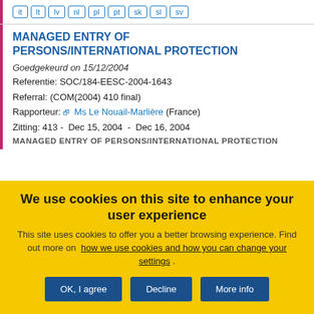it lt lv nl pl pt sk sl sv
MANAGED ENTRY OF PERSONS/INTERNATIONAL PROTECTION
Goedgekeurd on 15/12/2004
Referentie: SOC/184-EESC-2004-1643
Referral: (COM(2004) 410 final)
Rapporteur: Ms Le Nouail-Marlière (France)
Zitting: 413 -  Dec 15, 2004  -  Dec 16, 2004
MANAGED ENTRY OF PERSONS/INTERNATIONAL PROTECTION
We use cookies on this site to enhance your user experience
This site uses cookies to offer you a better browsing experience. Find out more on how we use cookies and how you can change your settings .